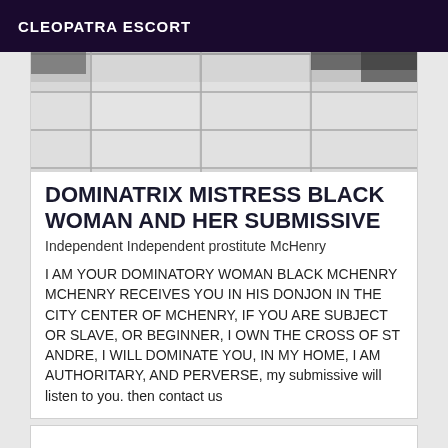CLEOPATRA ESCORT
[Figure (photo): Photo of tiled floor with white/light grey tiles and dark grout lines, partial view of dark objects at top]
DOMINATRIX MISTRESS BLACK WOMAN AND HER SUBMISSIVE
Independent Independent prostitute McHenry
I AM YOUR DOMINATORY WOMAN BLACK MCHENRY MCHENRY RECEIVES YOU IN HIS DONJON IN THE CITY CENTER OF MCHENRY, IF YOU ARE SUBJECT OR SLAVE, OR BEGINNER, I OWN THE CROSS OF ST ANDRE, I WILL DOMINATE YOU, IN MY HOME, I AM AUTHORITARY, AND PERVERSE, my submissive will listen to you. then contact us